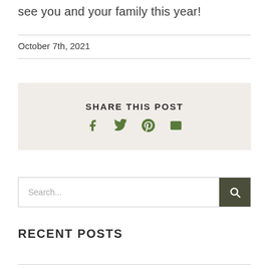see you and your family this year!
October 7th, 2021
[Figure (infographic): Share This Post social media sharing box with icons for Facebook, Twitter, Pinterest, and Email]
Search...
RECENT POSTS